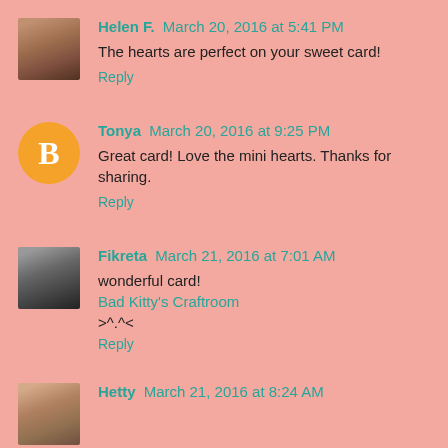[Figure (photo): Avatar photo of Helen F., a woman with sunglasses]
Helen F. March 20, 2016 at 5:41 PM
The hearts are perfect on your sweet card!
Reply
[Figure (logo): Blogger orange circle logo with B]
Tonya March 20, 2016 at 9:25 PM
Great card! Love the mini hearts. Thanks for sharing.
Reply
[Figure (photo): Avatar photo of Fikreta, black and white photo of person with glasses]
Fikreta March 21, 2016 at 7:01 AM
wonderful card!
Bad Kitty's Craftroom
>^.^<
Reply
[Figure (photo): Avatar photo of Hetty]
Hetty March 21, 2016 at 8:24 AM